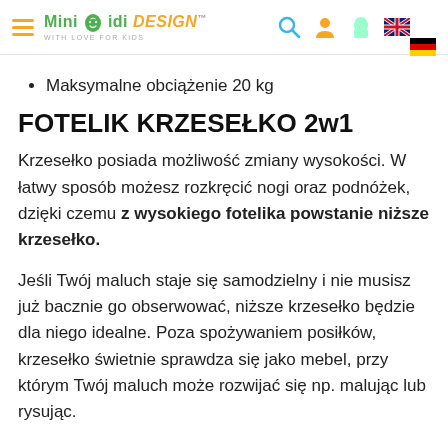Mini Midi Design™ — navigation header with logo and icons
Maksymalne obciążenie 20 kg
FOTELIK KRZESEŁKO 2w1
Krzesełko posiada możliwość zmiany wysokości. W łatwy sposób możesz rozkręcić nogi oraz podnóżek, dzięki czemu z wysokiego fotelika powstanie niższe krzesełko.
Jeśli Twój maluch staje się samodzielny i nie musisz już bacznie go obserwować, niższe krzesełko będzie dla niego idealne. Poza spożywaniem posiłków, krzesełko świetnie sprawdza się jako mebel, przy którym Twój maluch może rozwijać się np. malując lub rysując.